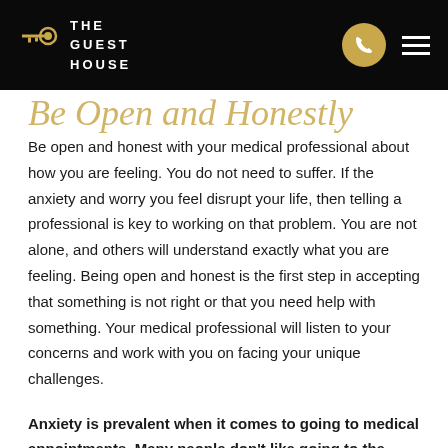THE GUEST HOUSE
[partial italic title - cut off at top]
Be open and honest with your medical professional about how you are feeling. You do not need to suffer. If the anxiety and worry you feel disrupt your life, then telling a professional is key to working on that problem. You are not alone, and others will understand exactly what you are feeling. Being open and honest is the first step in accepting that something is not right or that you need help with something. Your medical professional will listen to your concerns and work with you on facing your unique challenges.
Anxiety is prevalent when it comes to going to medical appointments. Many people don't like going to the doctor. However, when that worry begins to consume and affect